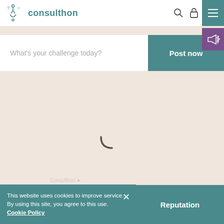[Figure (logo): Consulthon logo with stylized icon and teal text]
What's your challenge today?
Post now
[Figure (illustration): Loading spinner arc in teal/dark color on peach background]
This website uses cookies to improve service. By using this site, you agree to this use. Cookie Policy
Reputation